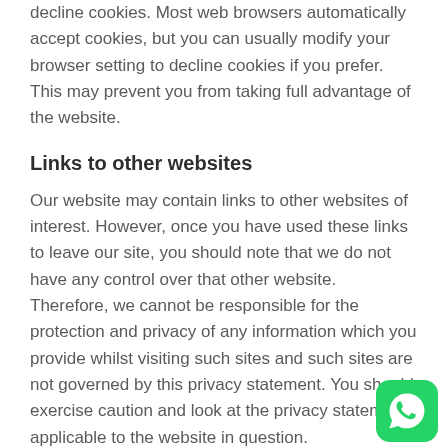decline cookies. Most web browsers automatically accept cookies, but you can usually modify your browser setting to decline cookies if you prefer. This may prevent you from taking full advantage of the website.
Links to other websites
Our website may contain links to other websites of interest. However, once you have used these links to leave our site, you should note that we do not have any control over that other website. Therefore, we cannot be responsible for the protection and privacy of any information which you provide whilst visiting such sites and such sites are not governed by this privacy statement. You should exercise caution and look at the privacy statement applicable to the website in question.
Controlling your personal information
[Figure (logo): WhatsApp logo — green rounded square with white phone handset icon]